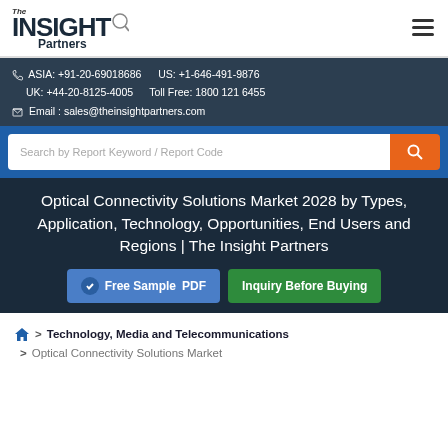[Figure (logo): The Insight Partners logo with magnifying glass icon]
ASIA: +91-20-69018686   US: +1-646-491-9876
UK: +44-20-8125-4005   Toll Free: 1800 121 6455
Email : sales@theinsightpartners.com
Search by Report Keyword / Report Code
Optical Connectivity Solutions Market 2028 by Types, Application, Technology, Opportunities, End Users and Regions | The Insight Partners
Free Sample PDF
Inquiry Before Buying
> Technology, Media and Telecommunications
> Optical Connectivity Solutions Market